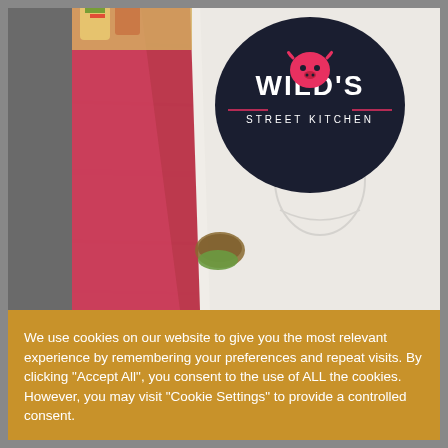[Figure (photo): Close-up photo of a wrapped food item from 'Wild's Street Kitchen', showing the branded white paper wrap with a dark oval logo featuring a stylized bull/devil face and the text 'WILD'S STREET KITCHEN'. Red paper and food contents are visible, set on a wooden surface.]
We use cookies on our website to give you the most relevant experience by remembering your preferences and repeat visits. By clicking "Accept All", you consent to the use of ALL the cookies. However, you may visit "Cookie Settings" to provide a controlled consent.
Cookie Settings
Accept All